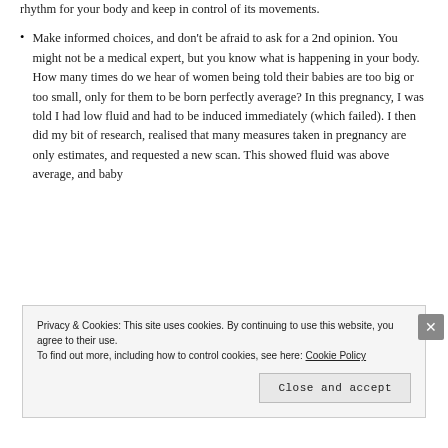rhythm for your body and keep in control of its movements.
Make informed choices, and don't be afraid to ask for a 2nd opinion. You might not be a medical expert, but you know what is happening in your body. How many times do we hear of women being told their babies are too big or too small, only for them to be born perfectly average? In this pregnancy, I was told I had low fluid and had to be induced immediately (which failed). I then did my bit of research, realised that many measures taken in pregnancy are only estimates, and requested a new scan. This showed fluid was above average, and baby
Privacy & Cookies: This site uses cookies. By continuing to use this website, you agree to their use.
To find out more, including how to control cookies, see here: Cookie Policy